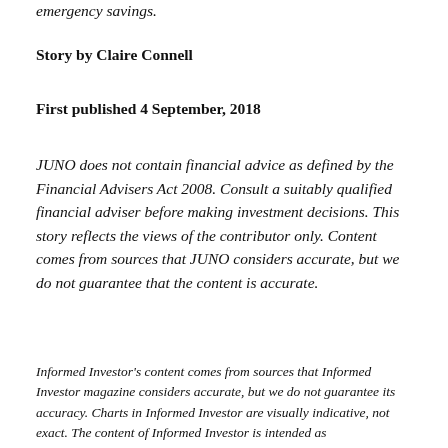emergency savings.
Story by Claire Connell
First published 4 September, 2018
JUNO does not contain financial advice as defined by the Financial Advisers Act 2008. Consult a suitably qualified financial adviser before making investment decisions. This story reflects the views of the contributor only. Content comes from sources that JUNO considers accurate, but we do not guarantee that the content is accurate.
Informed Investor's content comes from sources that Informed Investor magazine considers accurate, but we do not guarantee its accuracy. Charts in Informed Investor are visually indicative, not exact. The content of Informed Investor is intended as